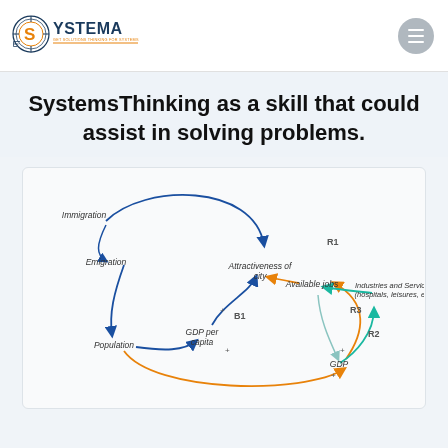[Figure (logo): Systema logo with circular gear icon and orange/dark text, tagline 'get solutions thinking for systems']
SystemsThinking as a skill that could assist in solving problems.
[Figure (network-graph): Causal loop diagram showing interrelated nodes: Immigration, Emigration, Population, GDP per capita, Attractiveness of city, Available jobs, GDP, Industries and Services (hospitals, leisures, etc). Feedback loops labeled R1, R2, R3, B1 with colored arrows (blue, orange, teal) showing reinforcing and balancing loops.]